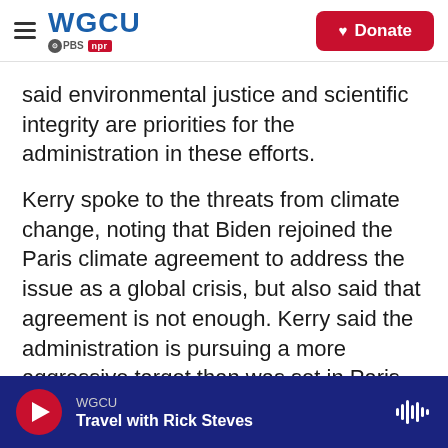[Figure (logo): WGCU logo with PBS and NPR badges, hamburger menu icon on the left, and a red Donate button on the right]
said environmental justice and scientific integrity are priorities for the administration in these efforts.
Kerry spoke to the threats from climate change, noting that Biden rejoined the Paris climate agreement to address the issue as a global crisis, but also said that agreement is not enough. Kerry said the administration is pursuing a more aggressive target than was set in Paris ahead of a follow on summit to Paris planned in Glasgow, Scotland, in November, in addition to an April summit the United States is hosting.
WGCU — Travel with Rick Steves